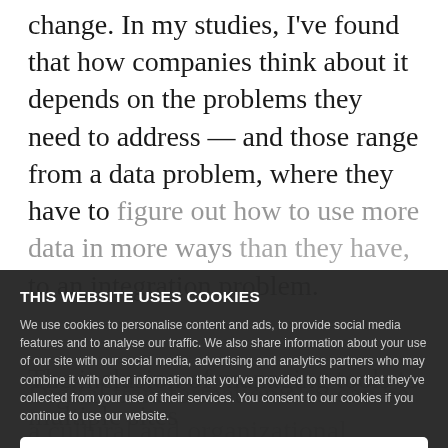change. In my studies, I've found that how companies think about it depends on the problems they need to address — and those range from a data problem, where they have to figure out how to use more data in more ways than they have, to an integration problem.
The inclusion of managing tools to multiple silos to create a relationship- or product-centric view combined with an industry ecosystem that involves third parties, such as business partners or suppliers.
[Figure (screenshot): Cookie consent banner overlay. Title: THIS WEBSITE USES COOKIES. Body: We use cookies to personalise content and ads, to provide social media features and to analyse our traffic. We also share information about your use of our site with our social media, advertising and analytics partners who may combine it with other information that you've provided to them or that they've collected from your use of their services. You consent to our cookies if you continue to use our website. OK button at bottom.]
Digital transformation also can be a cultural and organizational change, where the goal is to change the way the business uses technology